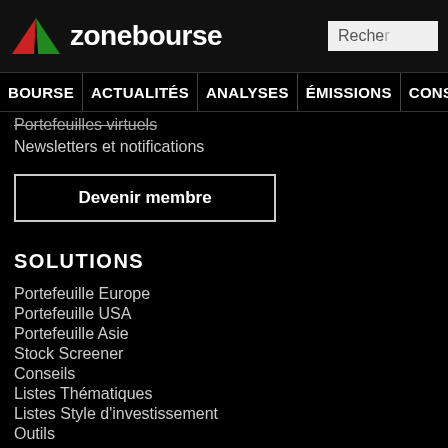zonebourse | Recherche
BOURSE ACTUALITÉS ANALYSES ÉMISSIONS CONSEILS PORTEF
Portefeuilles virtuels
Newsletters et notifications
Devenir membre
SOLUTIONS
Portefeuille Europe
Portefeuille USA
Portefeuille Asie
Stock Screener
Conseils
Listes Thématiques
Listes Style d'investissement
Outils
Devenir Client